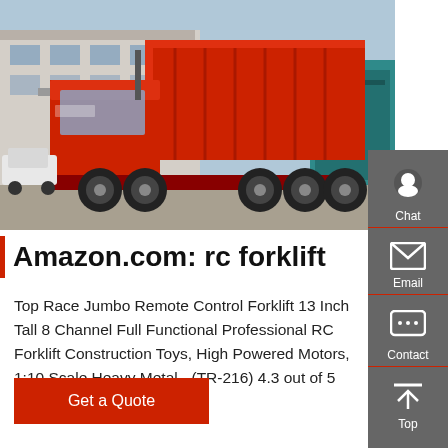[Figure (photo): Large red dump truck (heavy-duty tipper) parked in a lot, with teal truck visible at right edge and buildings in background.]
Amazon.com: rc forklift
Top Race Jumbo Remote Control Forklift 13 Inch Tall 8 Channel Full Functional Professional RC Forklift Construction Toys, High Powered Motors, 1:10 Scale Heavy Metal - (TR-216) 4.3 out of 5 stars. 441. $119.00. $119.
[Figure (infographic): Right sidebar with chat, email, contact, and top navigation icons on dark grey background with red dividers.]
Get a Quote